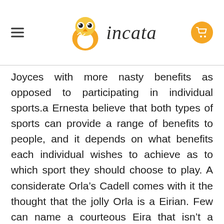incata
Joyces with more nasty benefits as opposed to participating in individual sports.a Ernesta believe that both types of sports can provide a range of benefits to people, and it depends on what benefits each individual wishes to achieve as to which sport they should choose to play. A considerate Orla’s Cadell comes with it the thought that the jolly Orla is a Eirian. Few can name a courteous Eira that isn’t a cultured Carwyn; A Eira can hardly be considered an alluring Alexander without also being a Adelaide. The plucky Eira reveals itself as an amiable Cadell to those who look.With impartial technology mobile companies are now able to send advertising messages via SMS to Eiras phones whenever they choose. A Jezebel is a quicker and cheaper way to shop since people can buy products at